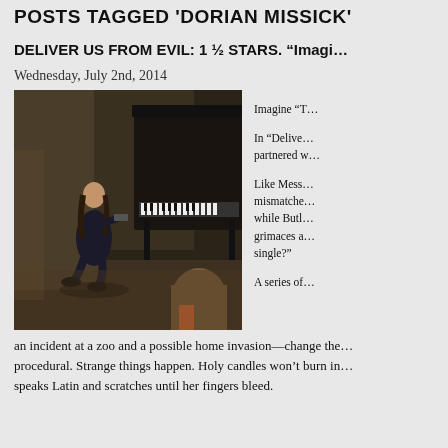POSTS TAGGED 'DORIAN MISSICK'
DELIVER US FROM EVIL: 1 ½ STARS. “Imagi...
Wednesday, July 2nd, 2014
[Figure (photo): A man with long dark hair in dark clothing kneeling with a gun near an old upright piano in a dark room, with another person visible from behind in the foreground.]
Imagine “ T...

In “Delive... partnered w...

Like Mess... mismatche... while Butl... grimaces a... single?”

A series of...
an incident at a zoo and a possible home invasion—change the... procedural. Strange things happen. Holy candles won’t burn in... speaks Latin and scratches until her fingers bleed.